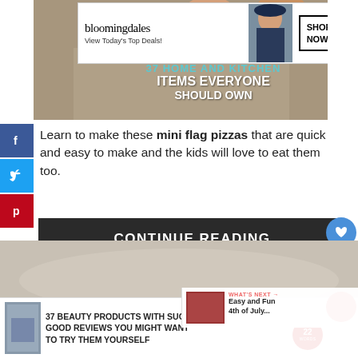[Figure (photo): Top image of cooking/kitchen scene with Bloomingdales advertisement overlay and '37 Home and Kitchen Items Everyone Should Own' text]
[Figure (screenshot): Social media share sidebar with Facebook, Twitter, and Pinterest buttons]
Learn to make these mini flag pizzas that are quick and easy to make and the kids will love to eat them too.
CONTINUE READING
[Figure (screenshot): Heart/like icon with count 8 and share icon on right side]
[Figure (screenshot): What's Next panel: Easy and Fun 4th of July...]
[Figure (photo): Bottom image partial view of food/baking]
[Figure (screenshot): Bottom advertisement: 37 Beauty Products With Such Good Reviews You Might Want To Try Them Yourself]